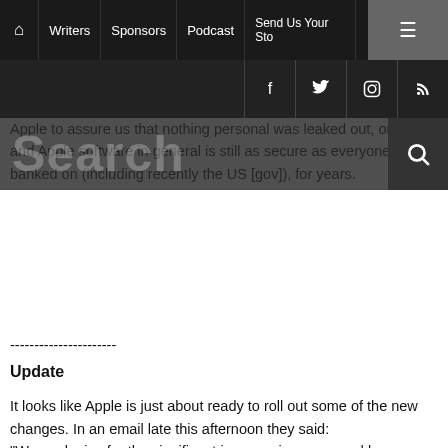Home | Writers | Sponsors | Podcast | Send Us Your Sto... | Menu
f | Twitter | Instagram | RSS
Apple to assure us that nothing personal was leaked out, or worse, and Apple software in general is still as [secure] as everyone has banked on (including recently the US [government]) for years.
----------------------
Update
It looks like Apple is just about ready to roll out some of the new changes. In an email late this afternoon they said: "We apologize for the significant inconvenience caused by our developer website downtime. We've been working around the clock to overhaul our developer systems, update our server software, and rebuild our entire database. While we complete the updates, inconveniences and delays may continue to be